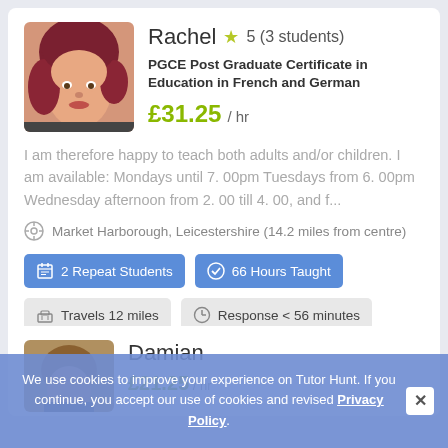[Figure (photo): Profile photo of Rachel, a woman with red/burgundy hair, smiling]
Rachel ★ 5 (3 students)
PGCE Post Graduate Certificate in Education in French and German
£31.25 / hr
I am therefore happy to teach both adults and/or children. I am available: Mondays until 7. 00pm Tuesdays from 6. 00pm Wednesday afternoon from 2. 00 till 4. 00, and f...
Market Harborough, Leicestershire (14.2 miles from centre)
2 Repeat Students
66 Hours Taught
Travels 12 miles
Response < 56 minutes
Member for 3 years
[Figure (photo): Partial profile photo of Damian, partially obscured by cookie banner]
Damian
We use cookies to improve your experience on Tutor Hunt. If you continue, you accept our use of cookies and revised Privacy Policy.